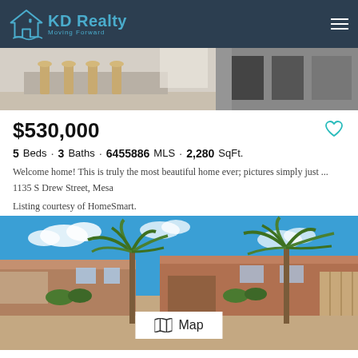KD Realty Moving Forward
[Figure (photo): Interior photo showing bar stools and furniture against light walls]
$530,000
5 Beds · 3 Baths · 6455886 MLS · 2,280 SqFt.
Welcome home! This is truly the most beautiful home ever; pictures simply just ...
1135 S Drew Street, Mesa
Listing courtesy of HomeSmart.
[Figure (photo): Exterior photo of house with two palm trees in front yard, blue sky with clouds. Map button overlay in center bottom.]